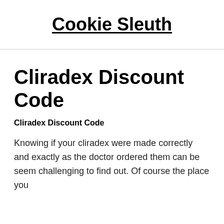Cookie Sleuth
Cliradex Discount Code
Cliradex Discount Code
Knowing if your cliradex were made correctly and exactly as the doctor ordered them can be seem challenging to find out. Of course the place you